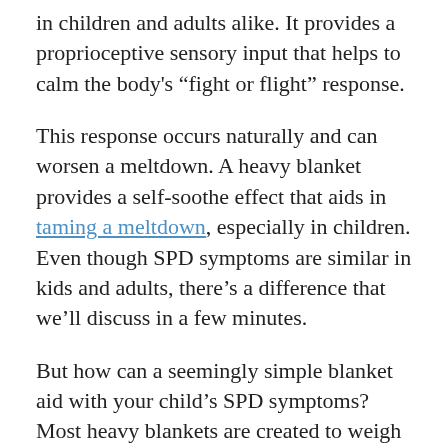in children and adults alike. It provides a proprioceptive sensory input that helps to calm the body's "fight or flight" response.
This response occurs naturally and can worsen a meltdown. A heavy blanket provides a self-soothe effect that aids in taming a meltdown, especially in children. Even though SPD symptoms are similar in kids and adults, there's a difference that we'll discuss in a few minutes.
But how can a seemingly simple blanket aid with your child's SPD symptoms? Most heavy blankets are created to weigh 10% or 15% of a child's body weight, providing the same effects of a strong hug from a loved one, just like if you were swaddling a baby.